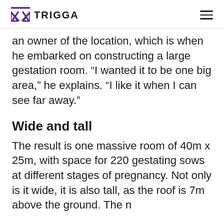TRIGGA
an owner of the location, which is when he embarked on constructing a large gestation room. “I wanted it to be one big area,” he explains. “I like it when I can see far away.”
Wide and tall
The result is one massive room of 40m x 25m, with space for 220 gestating sows at different stages of pregnancy. Not only is it wide, it is also tall, as the roof is 7m above the ground. The n...